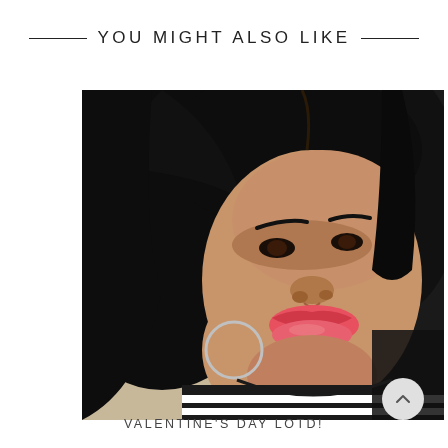YOU MIGHT ALSO LIKE
[Figure (photo): Close-up selfie of a young woman with straight black hair, pink-red lipstick, hoop earrings, wearing a black and white striped top with lace details]
VALENTINE'S DAY LOTD!